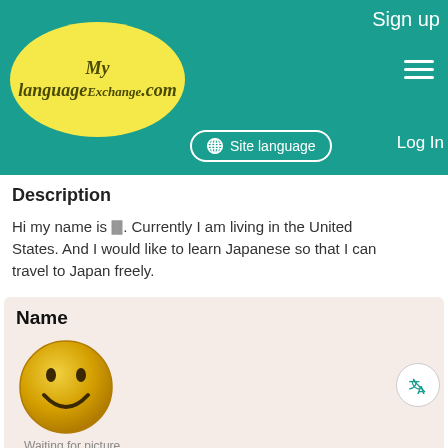Sign up
[Figure (logo): MyLanguageExchange.com logo on yellow oval background]
Site language
Log In
Description
Hi my name is 🀫. Currently I am living in the United States. And I would like to learn Japanese so that I can travel to Japan freely.
Name
[Figure (photo): Smiley face placeholder image. Waiting for picture.]
Add to Favorites
January 7, 2022
Country(City)
Other
Native Language